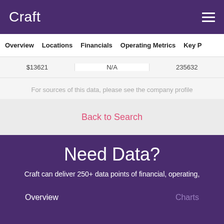Craft
Overview | Locations | Financials | Operating Metrics | Key P
$13621  N/A  235632
For sources of this data, please see the company profile
Back to Search
Need Data?
Craft can deliver 250+ data points of financial, operating,
Overview    Charts